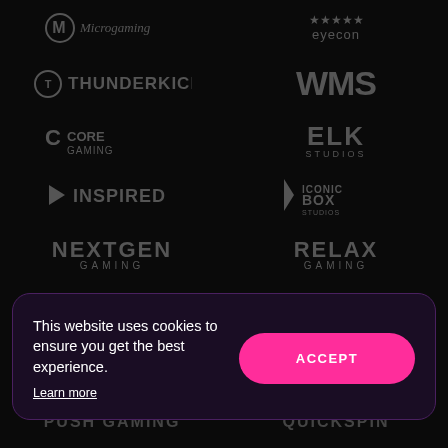[Figure (logo): Microgaming logo — circular M icon with text]
[Figure (logo): Eyecon logo — five star icons above the word eyecon]
[Figure (logo): Thunderkick logo — helmet icon with THUNDERKICK text]
[Figure (logo): WMS logo — bold WMS letters]
[Figure (logo): Core Gaming logo — C icon with CORE GAMING text]
[Figure (logo): ELK Studios logo — bold ELK over STUDIOS]
[Figure (logo): Inspired logo — play button triangle with INSPIRED text]
[Figure (logo): Iconic Box Studios logo — lightning bolt icon with ICONIC BOX text]
[Figure (logo): NextGen Gaming logo — NEXTGEN with GAMING below]
[Figure (logo): Relax Gaming logo — RELAX with GAMING below]
[Figure (logo): Pragmatic Play logo — flame/creature icon with pragmatic text]
[Figure (logo): Authentic Gaming logo — triangle A icon with AuthenticGaming text]
[Figure (logo): Golden Rock Studios logo — chart icon with Golden Rock Studios text]
[Figure (logo): Hacksaw Gaming logo — bold HACKSAW over GAMING]
This website uses cookies to ensure you get the best experience.
Learn more
ACCEPT
PUSH GAMING
QUICKSPIN